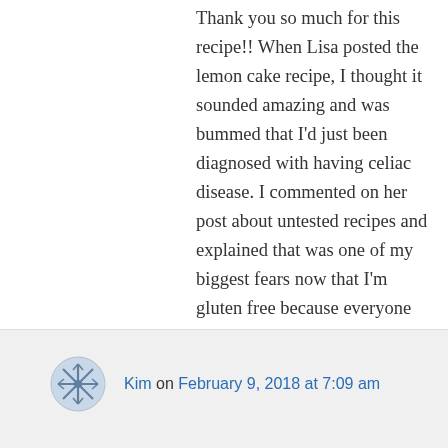Thank you so much for this recipe!! When Lisa posted the lemon cake recipe, I thought it sounded amazing and was bummed that I'd just been diagnosed with having celiac disease. I commented on her post about untested recipes and explained that was one of my biggest fears now that I'm gluten free because everyone seems to have jumped on that bandwagon. Lisa recommended you as someone I could trust and I'm so glad she did!
Liked by 1 person
↪ Reply
Kim on February 9, 2018 at 7:09 am